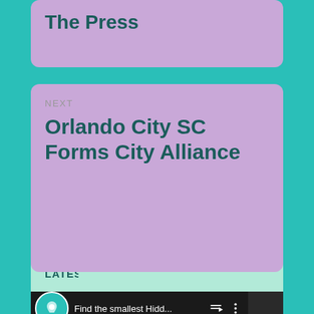The Press
NEXT
Orlando City SC Forms City Alliance
LATEST VIDEO
[Figure (screenshot): Video thumbnail showing 'Find the smallest Hidd...' with map pin icon and playlist/menu icons]